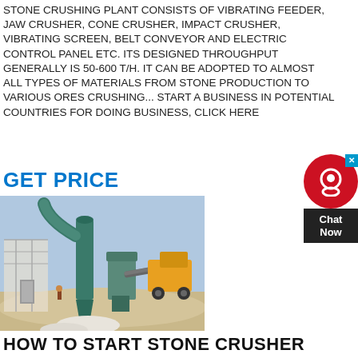STONE CRUSHING PLANT CONSISTS OF VIBRATING FEEDER, JAW CRUSHER, CONE CRUSHER, IMPACT CRUSHER, VIBRATING SCREEN, BELT CONVEYOR AND ELECTRIC CONTROL PANEL ETC. ITS DESIGNED THROUGHPUT GENERALLY IS 50-600 T/H. IT CAN BE ADOPTED TO ALMOST ALL TYPES OF MATERIALS FROM STONE PRODUCTION TO VARIOUS ORES CRUSHING... START A BUSINESS IN POTENTIAL COUNTRIES FOR DOING BUSINESS, CLICK HERE
GET PRICE
[Figure (photo): Photograph of a stone crushing plant with teal/green industrial machinery including a large cyclone dust collector and crusher equipment at an outdoor mining site with sandy terrain and blue sky.]
HOW TO START STONE CRUSHER